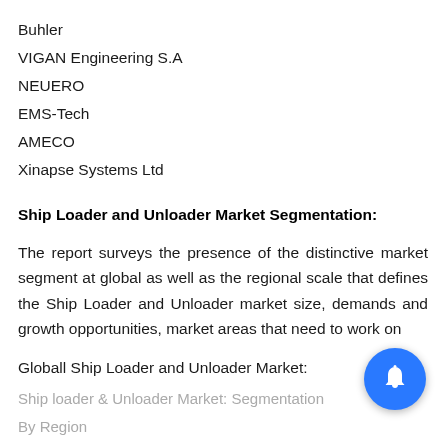Buhler
VIGAN Engineering S.A
NEUERO
EMS-Tech
AMECO
Xinapse Systems Ltd
Ship Loader and Unloader Market Segmentation:
The report surveys the presence of the distinctive market segment at global as well as the regional scale that defines the Ship Loader and Unloader market size, demands and growth opportunities, market areas that need to work on
Globall Ship Loader and Unloader Market:
Ship loader & Unloader Market: Segmentation
By Region